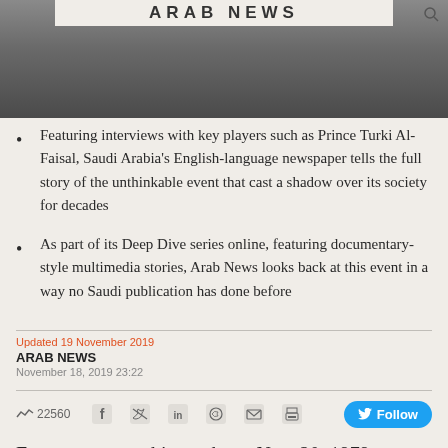[Figure (photo): Black and white photograph at top of page, partially cropped, showing dark grainy subject matter. Arab News logo banner overlaid at top.]
Featuring interviews with key players such as Prince Turki Al-Faisal, Saudi Arabia's English-language newspaper tells the full story of the unthinkable event that cast a shadow over its society for decades
As part of its Deep Dive series online, featuring documentary-style multimedia stories, Arab News looks back at this event in a way no Saudi publication has done before
Updated 19 November 2019
ARAB NEWS
November 18, 2019 23:22
22560
Forty years ago this week, on Nov. 20, 1979, a group of militants did the unthinkable: They